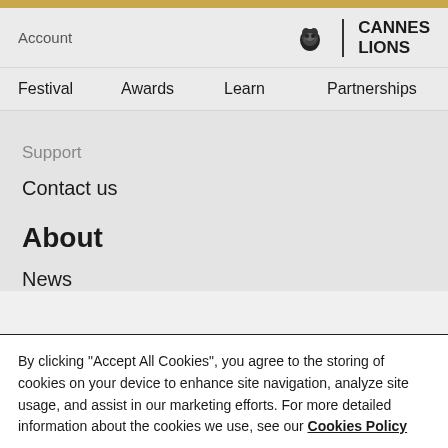Account | CANNES LIONS
Festival   Awards   Learn   Partnerships
Support
Contact us
About
News
By clicking “Accept All Cookies”, you agree to the storing of cookies on your device to enhance site navigation, analyze site usage, and assist in our marketing efforts. For more detailed information about the cookies we use, see our Cookies Policy